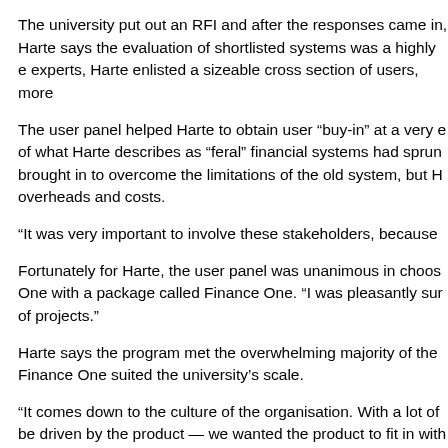The university put out an RFI and after the responses came in, Harte says the evaluation of shortlisted systems was a highly c experts, Harte enlisted a sizeable cross section of users, more
The user panel helped Harte to obtain user “buy-in” at a very e of what Harte describes as “feral” financial systems had sprun brought in to overcome the limitations of the old system, but H overheads and costs.
“It was very important to involve these stakeholders, because
Fortunately for Harte, the user panel was unanimous in choos One with a package called Finance One. “I was pleasantly sur of projects.”
Harte says the program met the overwhelming majority of the Finance One suited the university’s scale.
“It comes down to the culture of the organisation. With a lot of be driven by the product — we wanted the product to fit in with
When negotiating with suppliers, Harte says it is a good idea t